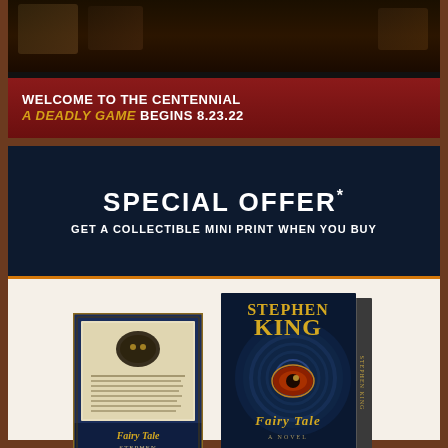[Figure (illustration): Top banner with dark atmospheric background showing book/photo imagery, red ribbon overlay with promotional text for 'Welcome to the Centennial - A Deadly Game Begins 8.23.22', followed by fine print terms]
SPECIAL OFFER* GET A COLLECTIBLE MINI PRINT WHEN YOU BUY
[Figure (illustration): Collectible mini print showing the Fairy Tale book cover - small version with parchment interior design, decorative border, smiling moon emblem, text excerpt, and title 'Fairy Tale Stephen King' at bottom on dark blue background]
[Figure (illustration): Main Stephen King 'Fairy Tale' book cover - dark blue with circular mosaic/dragon-scale pattern, large glowing orange/red eye in center, author name 'Stephen King' in gold at top, title 'Fairy Tale - A Novel' in gold italic at bottom, with book spine visible on right]